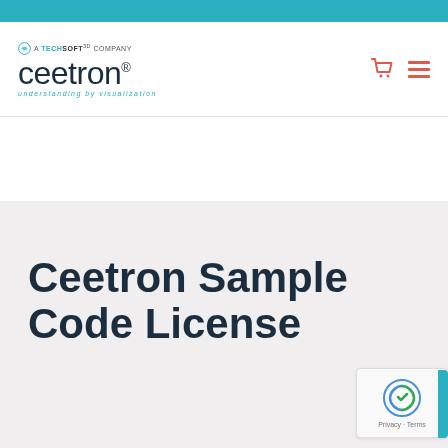[Figure (logo): Ceetron logo with 'A TechSoft 3D Company' above and 'understanding by visualization' tagline below]
Ceetron Sample Code License